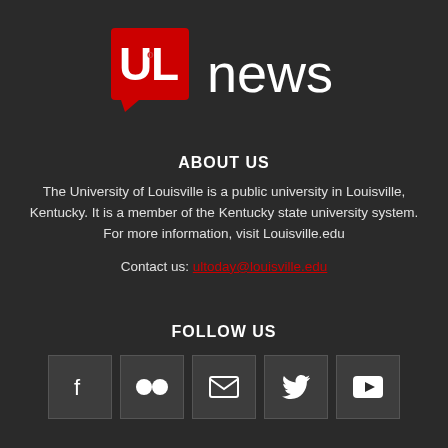[Figure (logo): University of Louisville UL News logo — red speech bubble with UL letters and 'news' text in white]
ABOUT US
The University of Louisville is a public university in Louisville, Kentucky. It is a member of the Kentucky state university system. For more information, visit Louisville.edu
Contact us: ultoday@louisville.edu
FOLLOW US
[Figure (infographic): Five social media icon boxes: Facebook, Flickr, Email, Twitter, YouTube]